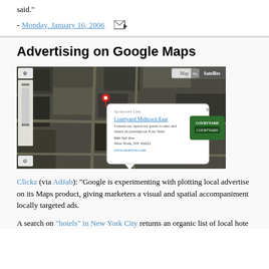said."
- Monday, January 16, 2006
Advertising on Google Maps
[Figure (screenshot): Google Maps satellite view of Midtown East New York City with a sponsored link popup showing Courtyard Midtown East hotel details including address 866 3rd Ave, New York NY 10022 and website www.marriott.com]
Clickz (via AdJab): "Google is experimenting with plotting local advertisers on its Maps product, giving marketers a visual and spatial accompaniment to locally targeted ads.
A search on "hotels" in New York City returns an organic list of local hote